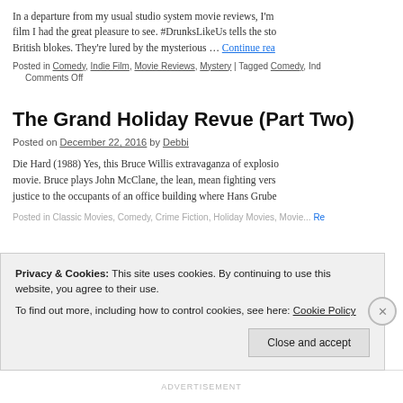In a departure from my usual studio system movie reviews, I'm film I had the great pleasure to see. #DrunksLikeUs tells the sto British blokes. They're lured by the mysterious … Continue reading
Posted in Comedy, Indie Film, Movie Reviews, Mystery | Tagged Comedy, Ind Comments Off
The Grand Holiday Revue (Part Two)
Posted on December 22, 2016 by Debbi
Die Hard (1988) Yes, this Bruce Willis extravaganza of explosio movie. Bruce plays John McClane, the lean, mean fighting vers justice to the occupants of an office building where Hans Grube
Privacy & Cookies: This site uses cookies. By continuing to use this website, you agree to their use. To find out more, including how to control cookies, see here: Cookie Policy
Close and accept